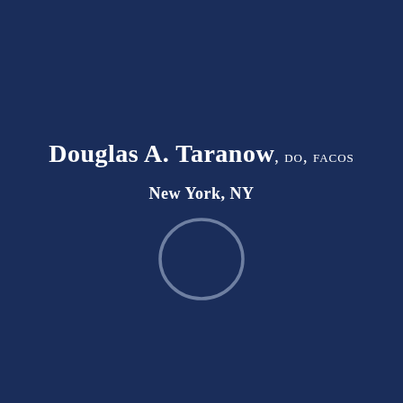Douglas A. Taranow, DO, FACOS
New York, NY
[Figure (logo): A circular ring logo/icon rendered in light blue-grey outline on dark navy background, positioned below the location text]